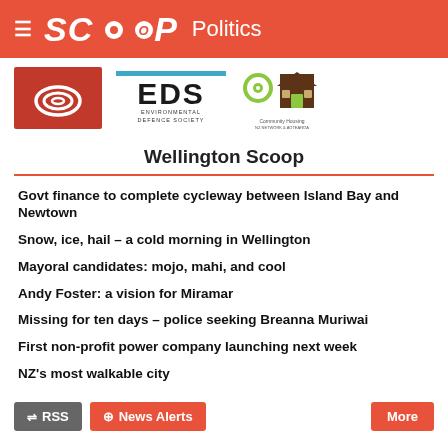SCOOP Politics
[Figure (logo): Three logos: red swirl logo, EDS Environmental Defence Society logo with teal bar, Community Housing logo with house icon]
Wellington Scoop
Govt finance to complete cycleway between Island Bay and Newtown
Snow, ice, hail – a cold morning in Wellington
Mayoral candidates: mojo, mahi, and cool
Andy Foster: a vision for Miramar
Missing for ten days – police seeking Breanna Muriwai
First non-profit power company launching next week
NZ's most walkable city